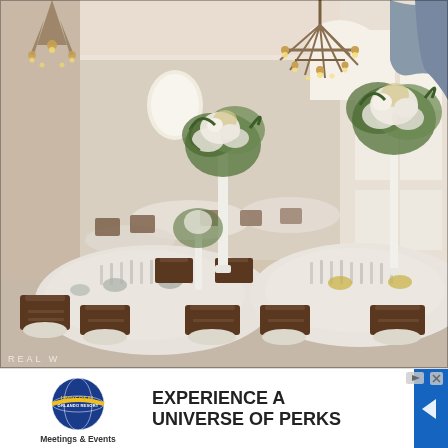[Figure (photo): Wedding reception ballroom with round tables set with white linens, Chiavari chairs, glassware, and tall floral centerpieces in white vases. Chandeliers hang from high ceilings, large windows let in natural light.]
REAL W
[Figure (infographic): Universal Orlando Resort Meetings & Events advertisement. Logo on left with globe graphic. Text reads: EXPERIENCE A UNIVERSE OF PERKS. Blue arrow/navigation panel on right side.]